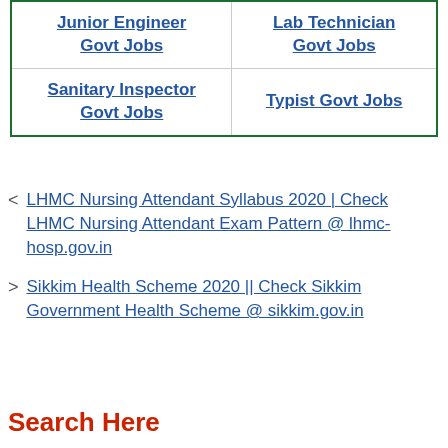| Junior Engineer Govt Jobs | Lab Technician Govt Jobs |
| Sanitary Inspector Govt Jobs | Typist Govt Jobs |
< LHMC Nursing Attendant Syllabus 2020 | Check LHMC Nursing Attendant Exam Pattern @ lhmc-hosp.gov.in
> Sikkim Health Scheme 2020 || Check Sikkim Government Health Scheme @ sikkim.gov.in
Search Here